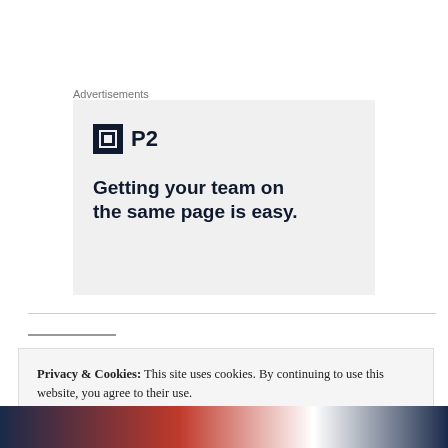Advertisements
[Figure (illustration): P2 advertisement banner with logo and tagline 'Getting your team on the same page is easy.']
Privacy & Cookies: This site uses cookies. By continuing to use this website, you agree to their use. To find out more, including how to control cookies, see here: Cookie Policy
Close and accept
[Figure (photo): Partial photo strip showing people at the bottom of the page]